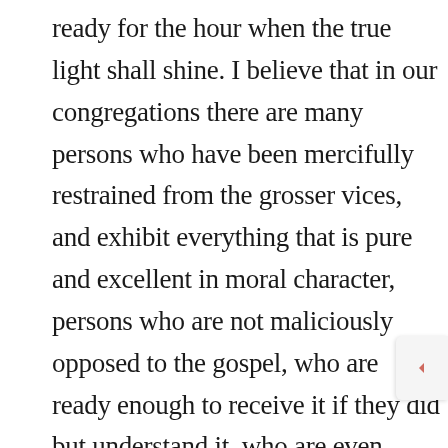ready for the hour when the true light shall shine. I believe that in our congregations there are many persons who have been mercifully restrained from the grosser vices, and exhibit everything that is pure and excellent in moral character, persons who are not maliciously opposed to the gospel, who are ready enough to receive it if they did but understand it, who are even anxious to be saved by Jesus Christ, and have a reverence for his name, though as yet it is an ignorant reverence. They know so little of the Redeemer, that they are not